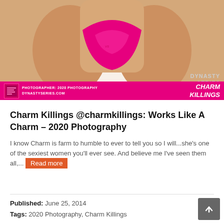[Figure (photo): Cropped photo of a woman in a pink/magenta bikini against a light background, with Dynasty Series branding and pink banner overlay reading PHOTOGRAPHER: 2020 PHOTOGRAPHY DYNASTYSERIES.COM and CHARM KILLINGS]
Charm Killings @charmkillings: Works Like A Charm – 2020 Photography
I know Charm is farm to humble to ever to tell you so I will...she's one of the sexiest women you'll ever see. And believe me I've seen them all,...
Published: June 25, 2014
Tags: 2020 Photography, Charm Killings